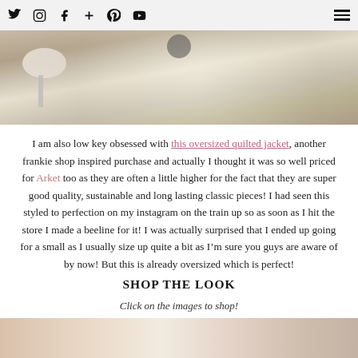Social media icons: Twitter, Instagram, Facebook, Plus, Pinterest, YouTube | Hamburger menu
[Figure (photo): Mirror selfie photo showing a person holding a phone photographing themselves in a fitting room with a white stool and sparkly/pearlescent floor]
I am also low key obsessed with this oversized quilted jacket, another frankie shop inspired purchase and actually I thought it was so well priced for Arket too as they are often a little higher for the fact that they are super good quality, sustainable and long lasting classic pieces! I had seen this styled to perfection on my instagram on the train up so as soon as I hit the store I made a beeline for it! I was actually surprised that I ended up going for a small as I usually size up quite a bit as I’m sure you guys are aware of by now! But this is already oversized which is perfect!
SHOP THE LOOK
Click on the images to shop!
[Figure (photo): Partial view of product images at the bottom of the page]